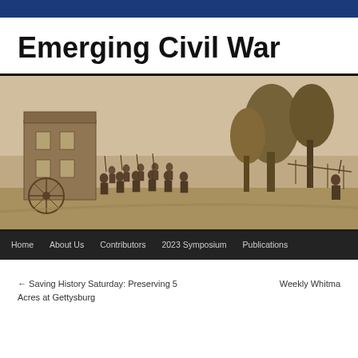Emerging Civil War
[Figure (illustration): Sepia-toned historical illustration showing Civil War era scene with soldiers marching, trees, and a building in the background. Navigation bar overlaid at bottom with links: Home, About Us, Contributors, 2023 Symposium, Publications]
← Saving History Saturday: Preserving 5 Acres at Gettysburg
Weekly Whitma